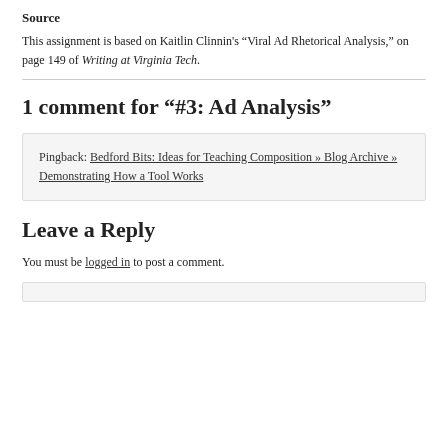Source
This assignment is based on Kaitlin Clinnin's “Viral Ad Rhetorical Analysis,” on page 149 of Writing at Virginia Tech.
1 comment for “#3: Ad Analysis”
Pingback: Bedford Bits: Ideas for Teaching Composition » Blog Archive » Demonstrating How a Tool Works
Leave a Reply
You must be logged in to post a comment.